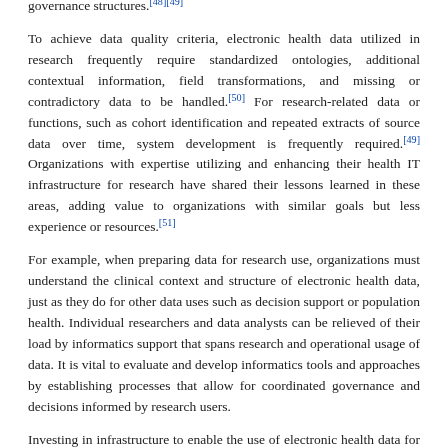governance structures.[48][49]
To achieve data quality criteria, electronic health data utilized in research frequently require standardized ontologies, additional contextual information, field transformations, and missing or contradictory data to be handled.[50] For research-related data or functions, such as cohort identification and repeated extracts of source data over time, system development is frequently required.[49] Organizations with expertise utilizing and enhancing their health IT infrastructure for research have shared their lessons learned in these areas, adding value to organizations with similar goals but less experience or resources.[51]
For example, when preparing data for research use, organizations must understand the clinical context and structure of electronic health data, just as they do for other data uses such as decision support or population health. Individual researchers and data analysts can be relieved of their load by informatics support that spans research and operational usage of data. It is vital to evaluate and develop informatics tools and approaches by establishing processes that allow for coordinated governance and decisions informed by research users.
Investing in infrastructure to enable the use of electronic health data for research has also been shown to be beneficial to researchers by providing them with the necessary tools and expertise, to patients by providing clinical trial participation opportunities, to clinicians by enabling more rapid translation of research into practice, and to population health analysts by